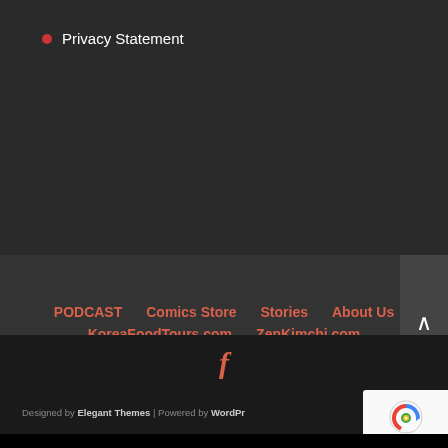Privacy Statement
PODCAST  Comics Store  Stories  About Us  KoreaFoodTours.com  ZenKimchi.com
[Figure (logo): Facebook icon (stylized f) in salmon/red color]
Designed by Elegant Themes | Powered by WordPress
[Figure (other): reCAPTCHA badge with Google logo, showing Privacy and Terms links]